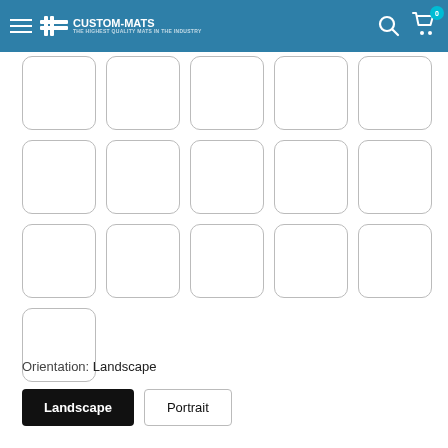CUSTOM-MATS — Navigation header with hamburger menu, logo, search, and cart (0 items)
[Figure (other): Grid of 16 rounded rectangle thumbnail cells arranged in 4 rows of 5 cells each, plus 1 cell in a partial 4th row — all empty white cells with light gray borders]
Orientation: Landscape
Landscape  Portrait